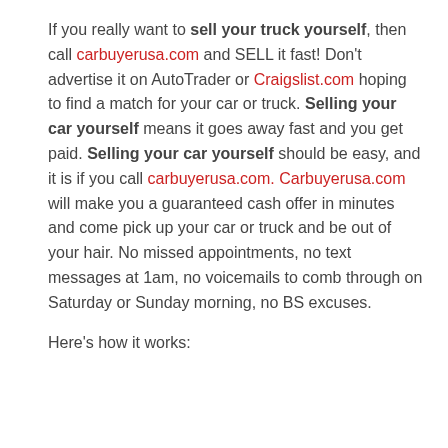If you really want to sell your truck yourself, then call carbuyerusa.com and SELL it fast! Don't advertise it on AutoTrader or Craigslist.com hoping to find a match for your car or truck. Selling your car yourself means it goes away fast and you get paid. Selling your car yourself should be easy, and it is if you call carbuyerusa.com. Carbuyerusa.com will make you a guaranteed cash offer in minutes and come pick up your car or truck and be out of your hair. No missed appointments, no text messages at 1am, no voicemails to comb through on Saturday or Sunday morning, no BS excuses.
Here's how it works: